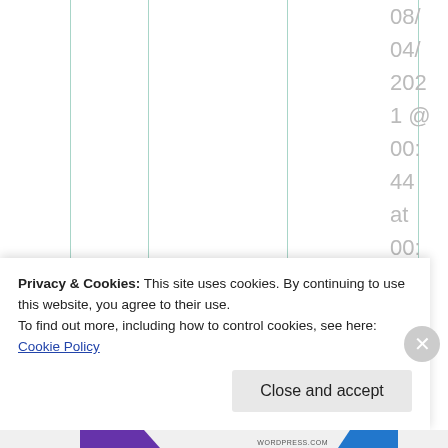[Figure (other): Screenshot of a webpage showing vertical teal/green column grid lines on the left portion, a rotated date timestamp '08/04/2021 @ 00:44 at 00:44' displayed vertically on the right in light gray text, and bold text 'At least I can use the' visible in the upper-right content area.]
At least I can use the
Privacy & Cookies: This site uses cookies. By continuing to use this website, you agree to their use.
To find out more, including how to control cookies, see here: Cookie Policy
Close and accept